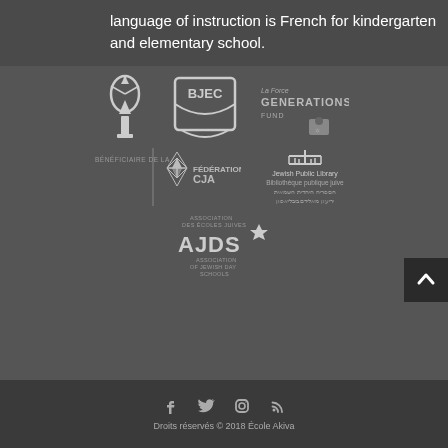language of instruction is French for kindergarten and elementary school.
[Figure (logo): Row of partner/sponsor logos: torch/book logo, BJEC logo, La Force Generations Fund logo; second row: Bénéficiaire de la Fédération CJA logo (star of David), Jewish Public Library / Bibliothèque publique juive logo; third row: AJDS Association des Écoles Juives / Association of Jewish Day Schools logo]
Droits réservés © 2018 École Akiva